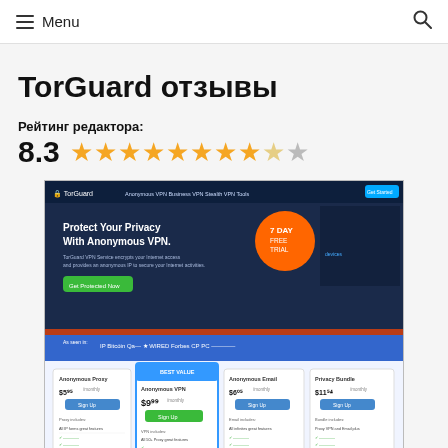Menu (hamburger icon) | Search (magnifier icon)
TorGuard отзывы
Рейтинг редактора:
8.3 ★★★★★★★★☆☆ (8.3 out of 10 stars)
[Figure (screenshot): Screenshot of TorGuard website showing homepage with 'Protect Your Privacy With Anonymous VPN' hero section, 7-day free trial badge, pricing cards showing Anonymous Proxy $5.95, Anonymous VPN $9.99, Anonymous Email $6.05, Privacy Bundle $11.54]